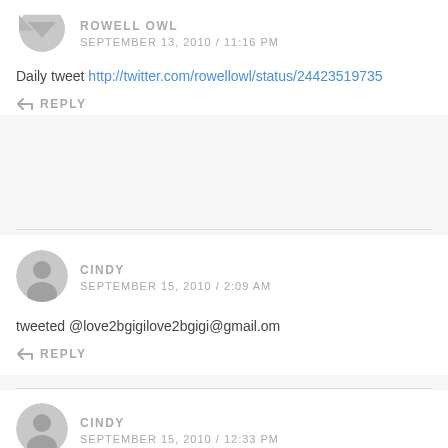[Figure (other): Hamburger menu icon (three horizontal lines) in top right corner]
ROWELL OWL
SEPTEMBER 13, 2010 / 11:16 PM
Daily tweet http://twitter.com/rowellowl/status/24423519735
REPLY
CINDY
SEPTEMBER 15, 2010 / 2:09 AM
tweeted @love2bgigilove2bgigi@gmail.om
REPLY
CINDY
SEPTEMBER 15, 2010 / 12:33 PM
tweeted @love2bgigilove2bgigi@gmail.com